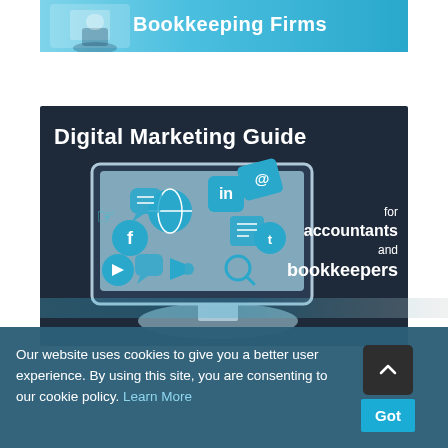[Figure (illustration): Partial banner image for Bookkeeping Firms with light blue background and text 'Bookkeeping Firms' in white bold font, top portion of a larger banner cut off at top edge.]
[Figure (illustration): Digital Marketing Guide promotional image for accountants and bookkeepers. Dark navy background with a computer monitor illustration showing social media icons (LinkedIn, Facebook, Twitter, email, chat bubbles, etc.) with text 'Digital Marketing Guide for accountants and bookkeepers' in white.]
Our website uses cookies to give you a better user experience. By using this site, you are consenting to our cookie policy. Learn More